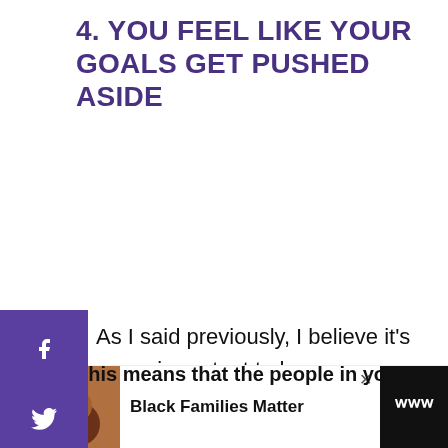4. YOU FEEL LIKE YOUR GOALS GET PUSHED ASIDE
As I said previously, I believe it's super important to have your own goals and aspirations in relationships.
This means that the people in your life
[Figure (other): Social media share sidebar with Facebook, Twitter, Pinterest, LinkedIn icons on purple background]
[Figure (other): Heart/save floating action button in teal blue]
[Figure (other): Share floating action button]
[Figure (other): Advertisement bar at bottom: photo of smiling family, text 'Black Families Matter', dark logo with W symbol]